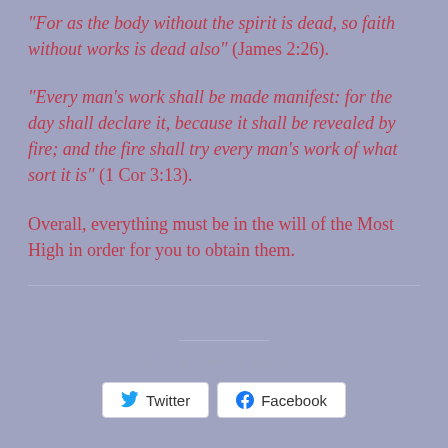"For as the body without the spirit is dead, so faith without works is dead also" (James 2:26).
"Every man's work shall be made manifest: for the day shall declare it, because it shall be revealed by fire; and the fire shall try every man's work of what sort it is" (1 Cor 3:13).
Overall, everything must be in the will of the Most High in order for you to obtain them.
Share this: Twitter Facebook